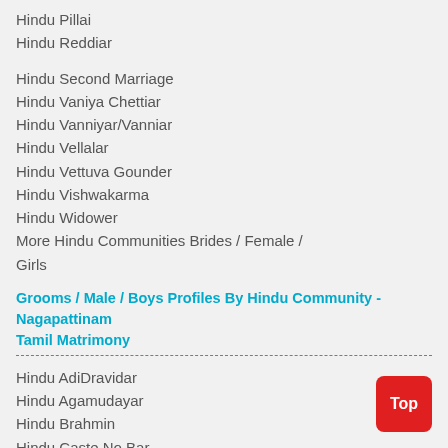Hindu Pillai
Hindu Reddiar
Hindu Second Marriage
Hindu Vaniya Chettiar
Hindu Vanniyar/Vanniar
Hindu Vellalar
Hindu Vettuva Gounder
Hindu Vishwakarma
Hindu Widower
More Hindu Communities Brides / Female / Girls
Grooms / Male / Boys Profiles By Hindu Community - Nagapattinam Tamil Matrimony
Hindu AdiDravidar
Hindu Agamudayar
Hindu Brahmin
Hindu Caste No Bar
Hindu Chettiar
Hindu Chevvai Dosham
Hindu Devandra Kula Vellalar